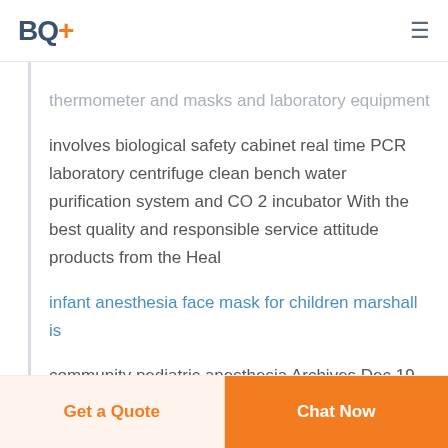BQ+
... thermometer and masks and laboratory equipment involves biological safety cabinet real time PCR laboratory centrifuge clean bench water purification system and CO 2 incubator With the best quality and responsible service attitude products from the Heal
infant anesthesia face mask for children marshall is community pediatric anesthesia Archives Dec 19 2016  I consider myself expert and confident in the anesthesia care of children of these ages in a community setting In my opinion neonates and younger infants need anesthesiologists with specialized pediatric training Whether specialized
Get a Quote   Chat Now